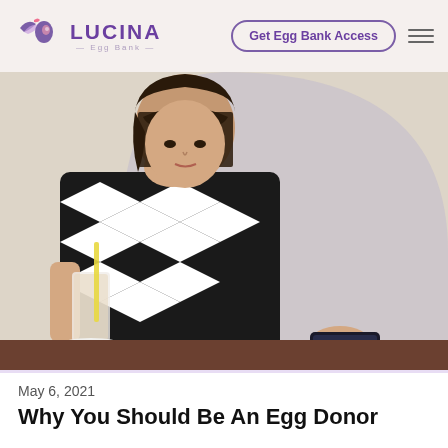Lucina Egg Bank — Get Egg Bank Access
[Figure (photo): Young woman with dark hair wearing a black-and-white geometric patterned top, leaning over a table with a milkshake/smoothie drink with a straw, looking at her phone. Background shows an arched grey shape.]
May 6, 2021
Why You Should Be An Egg Donor